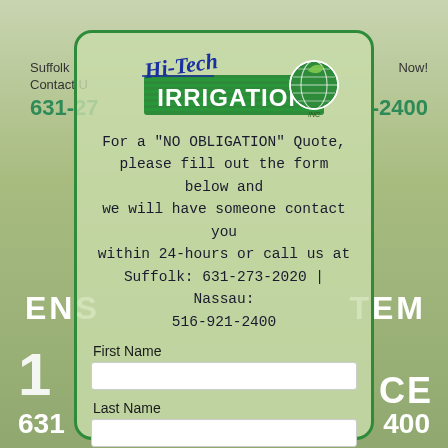[Figure (logo): Hi-Tech Irrigation Inc. logo with green banner and globe icon]
For a "NO OBLIGATION" Quote, please fill out the form below and we will have someone contact you within 24-hours or call us at Suffolk: 631-273-2020 | Nassau: 516-921-2400
First Name
Last Name